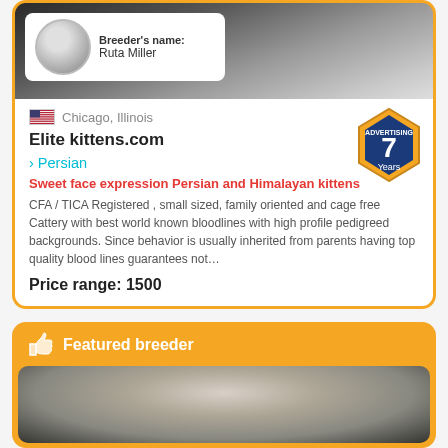[Figure (photo): Photo of a white fluffy cat (Persian) as hero image with breeder profile badge showing avatar and name]
Breeder's name: Ruta Miller
Chicago, Illinois
Elite kittens.com
› Persian
Sweet face expression Persian and Himalayan kittens
CFA / TICA Registered , small sized, family oriented and cage free Cattery with best world known bloodlines with high profile pedigreed backgrounds. Since behavior is usually inherited from parents having top quality blood lines guarantees not…
Price range: 1500
Featured breeder
[Figure (photo): Close-up photo of a white/cream fluffy cat face on dark background]